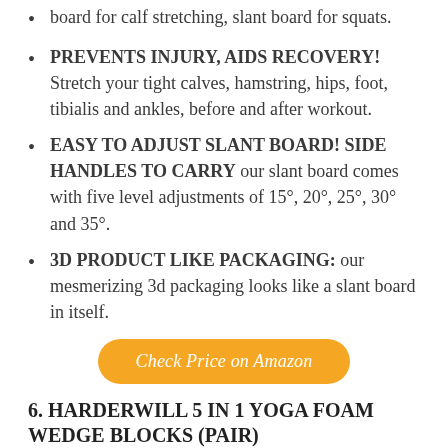board for calf stretching, slant board for squats.
PREVENTS INJURY, AIDS RECOVERY! Stretch your tight calves, hamstring, hips, foot, tibialis and ankles, before and after workout.
EASY TO ADJUST SLANT BOARD! SIDE HANDLES TO CARRY our slant board comes with five level adjustments of 15°, 20°, 25°, 30° and 35°.
3D PRODUCT LIKE PACKAGING: our mesmerizing 3d packaging looks like a slant board in itself.
Check Price on Amazon
6. HARDERWILL 5 IN 1 YOGA FOAM WEDGE BLOCKS (PAIR)
SPECIAL DESIGN□: Whether You're A Beginner Or